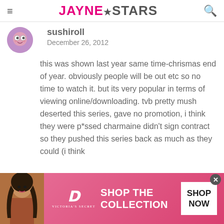JAYNE★STARS
sushiroll
December 26, 2012
this was shown last year same time-chrismas end of year. obviously people will be out etc so no time to watch it. but its very popular in terms of viewing online/downloading. tvb pretty mush deserted this series, gave no promotion, i think they were p*ssed charmaine didn't sign contract so they pushed this series back as much as they could (i think
[Figure (advertisement): Victoria's Secret advertisement banner with model, VS logo, 'SHOP THE COLLECTION' text, and 'SHOP NOW' button]